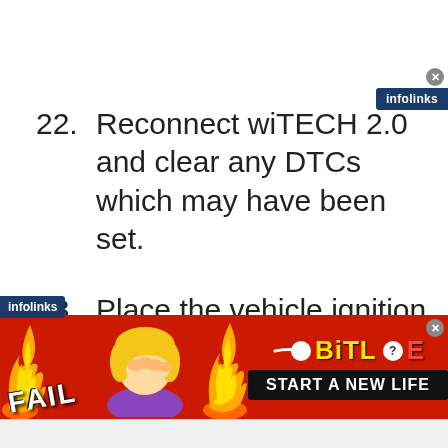[Figure (other): Infolinks advertising badge with close button in top-right corner]
22. Reconnect wiTECH 2.0 and clear any DTCs which may have been set.
23. Place the vehicle ignition in the “OFF” position and unplug the wiTECH MicroPod II.
[Figure (other): Infolinks left side badge]
[Figure (other): BitLife advertisement banner with FAIL text, animated character, flames, and START A NEW LIFE button]